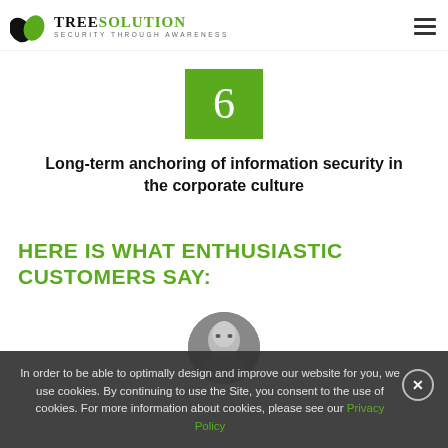TreeSolution – Security Through Awareness
[Figure (other): Green square badge with the number 6 in white, centered]
Long-term anchoring of information security in the corporate culture
HERE IS WHAT ENTHUSIASTIC CUSTOMERS SAY:
[Figure (photo): Circular black and white portrait photo of a bald man]
In order to be able to optimally design and improve our website for you, we use cookies. By continuing to use the Site, you consent to the use of cookies. For more information about cookies, please see our Privacy Policy